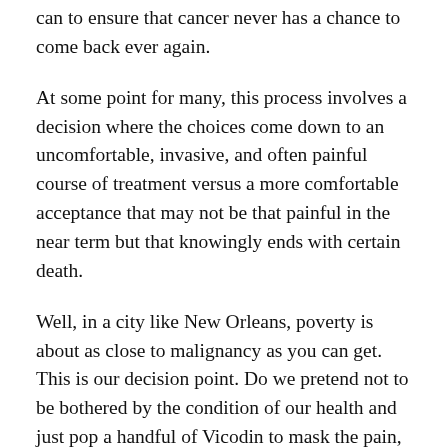can to ensure that cancer never has a chance to come back ever again.
At some point for many, this process involves a decision where the choices come down to an uncomfortable, invasive, and often painful course of treatment versus a more comfortable acceptance that may not be that painful in the near term but that knowingly ends with certain death.
Well, in a city like New Orleans, poverty is about as close to malignancy as you can get. This is our decision point. Do we pretend not to be bothered by the condition of our health and just pop a handful of Vicodin to mask the pain, or do we go ahead and take the chemo, suffer through the radiation and get back to healthy, all the while hoping our hair comes back?